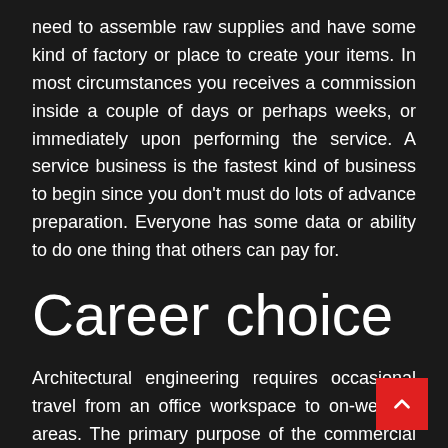need to assemble raw supplies and have some kind of factory or place to create your items. In most circumstances you receives a commission inside a couple of days or perhaps weeks, or immediately upon performing the service. A service business is the fastest kind of business to begin since you don't must do lots of advance preparation. Everyone has some data or ability to do one thing that others can pay for.
Career choice
Architectural engineering requires occasional travel from an office workspace to on-website areas. The primary purpose of the commercial engineer is to increase productivity and effectivity. They work with established companies to enhance present procedures